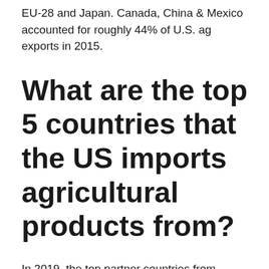EU-28 and Japan. Canada, China & Mexico accounted for roughly 44% of U.S. ag exports in 2015.
What are the top 5 countries that the US imports agricultural products from?
In 2019, the top partner countries from which United States Imports Food Products include Canada, Mexico, France, Italy and Singapore.
What are the top 5